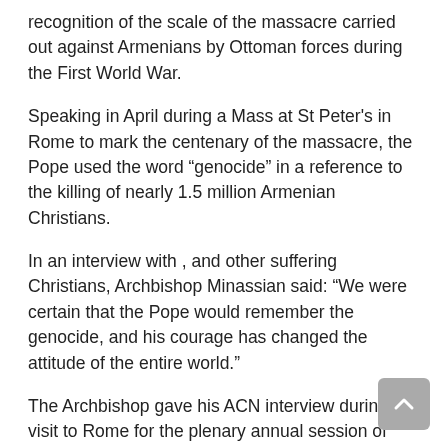recognition of the scale of the massacre carried out against Armenians by Ottoman forces during the First World War.
Speaking in April during a Mass at St Peter's in Rome to mark the centenary of the massacre, the Pope used the word “genocide” in a reference to the killing of nearly 1.5 million Armenian Christians.
In an interview with , and other suffering Christians, Archbishop Minassian said: “We were certain that the Pope would remember the genocide, and his courage has changed the attitude of the entire world.”
The Archbishop gave his ACN interview during his visit to Rome for the plenary annual session of ROACO (Riunione delle Opere di Aiuto per le Chiese Orientali), an international symposium of aid agencies for the Oriental Churches.
Referring to the Pope’s statement during the Armenian